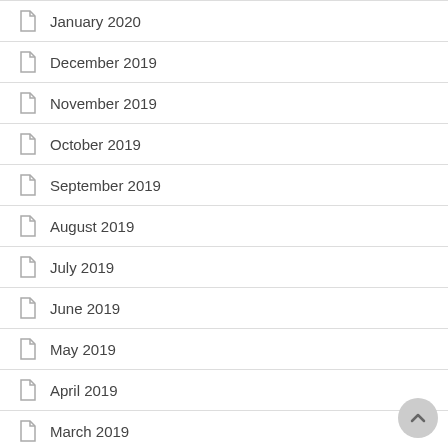January 2020
December 2019
November 2019
October 2019
September 2019
August 2019
July 2019
June 2019
May 2019
April 2019
March 2019
December 2018
November 2018